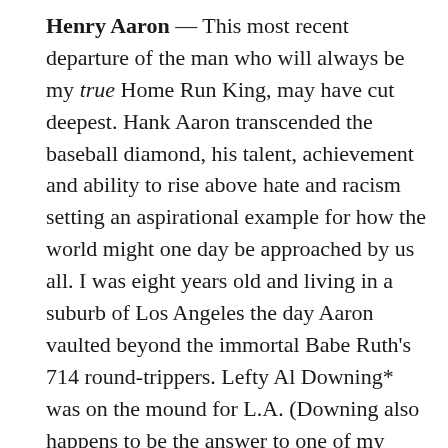Henry Aaron — This most recent departure of the man who will always be my true Home Run King, may have cut deepest. Hank Aaron transcended the baseball diamond, his talent, achievement and ability to rise above hate and racism setting an aspirational example for how the world might one day be approached by us all. I was eight years old and living in a suburb of Los Angeles the day Aaron vaulted beyond the immortal Babe Ruth's 714 round-trippers. Lefty Al Downing* was on the mound for L.A. (Downing also happens to be the answer to one of my favorite baseball trivia questions — see below). Cue to the familiar wrist snap of Hank's smooth, righty swing. No need back then for the all-or-nothing uppercut so prevalent today,